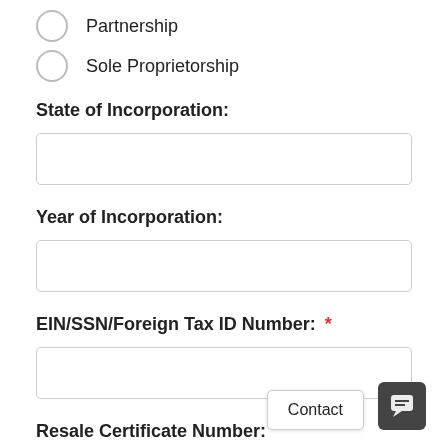Partnership
Sole Proprietorship
State of Incorporation:
Year of Incorporation:
EIN/SSN/Foreign Tax ID Number: *
Resale Certificate Number: